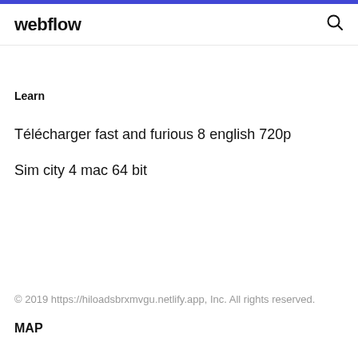webflow
Learn
Télécharger fast and furious 8 english 720p
Sim city 4 mac 64 bit
© 2019 https://hiloadsbrxmvgu.netlify.app, Inc. All rights reserved.
MAP